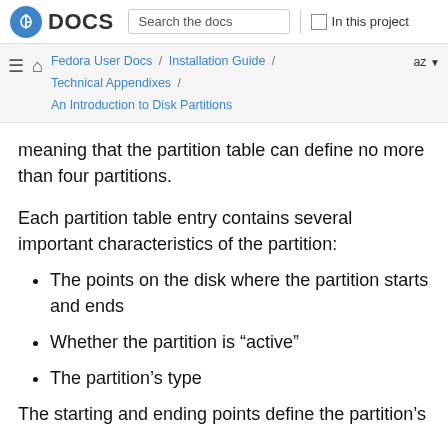Fedora DOCS | Search the docs | In this project
Fedora User Docs / Installation Guide / Technical Appendixes / An Introduction to Disk Partitions | az
meaning that the partition table can define no more than four partitions.
Each partition table entry contains several important characteristics of the partition:
The points on the disk where the partition starts and ends
Whether the partition is “active”
The partition’s type
The starting and ending points define the partition's size and location on the disk. The “active” flag is